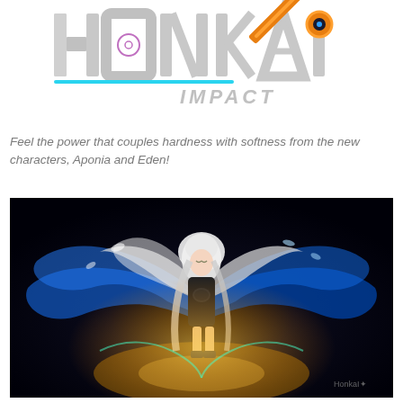[Figure (logo): Honkai Impact game logo with robotic/mechanical stylized text and orange energy weapon graphic]
Feel the power that couples hardness with softness from the new characters, Aponia and Eden!
[Figure (illustration): Anime-style illustration of a female character with white hair wearing a dark outfit, surrounded by large blue and white ethereal wings against a dark background. Character appears to be Aponia from Honkai Impact.]